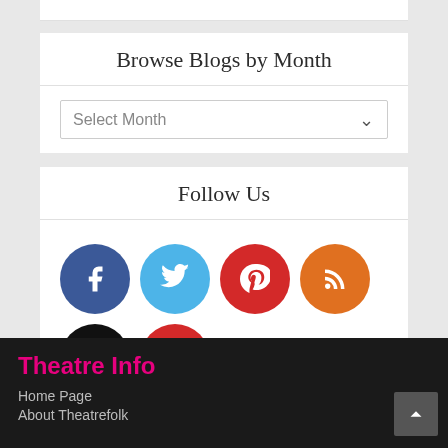Browse Blogs by Month
Select Month
Follow Us
[Figure (infographic): Six social media icon circles: Facebook (dark blue), Twitter (light blue), Pinterest (red), RSS (orange), Instagram (black), YouTube (red)]
Theatre Info
Home Page
About Theatrefolk